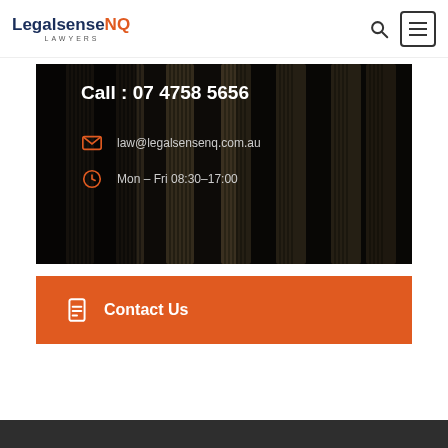LegalsenseNQ LAWYERS
[Figure (photo): Dark background photo of classical stone columns/pillars of a courthouse or legal building, with overlaid contact information: 'Call : 07 4758 5656', email 'law@legalsensenq.com.au', and hours 'Mon – Fri 08:30–17:00']
Contact Us